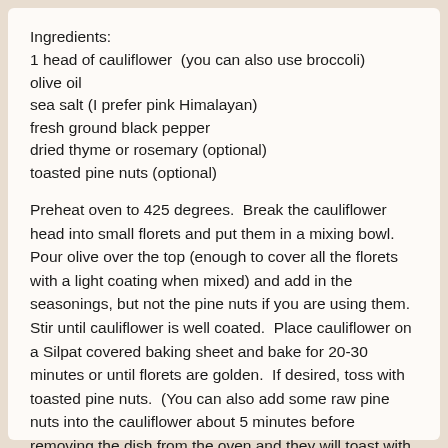Ingredients:
1 head of cauliflower  (you can also use broccoli)
olive oil
sea salt (I prefer pink Himalayan)
fresh ground black pepper
dried thyme or rosemary (optional)
toasted pine nuts (optional)
Preheat oven to 425 degrees.  Break the cauliflower head into small florets and put them in a mixing bowl.  Pour olive over the top (enough to cover all the florets with a light coating when mixed) and add in the seasonings, but not the pine nuts if you are using them.  Stir until cauliflower is well coated.  Place cauliflower on a Silpat covered baking sheet and bake for 20-30 minutes or until florets are golden.  If desired, toss with toasted pine nuts.  (You can also add some raw pine nuts into the cauliflower about 5 minutes before removing the dish from the oven and they will toast with the cauliflower.)  I recommend adding the rosemary to the dish if you are serving it to sophisticated palates.  However, for kids, try the thyme.